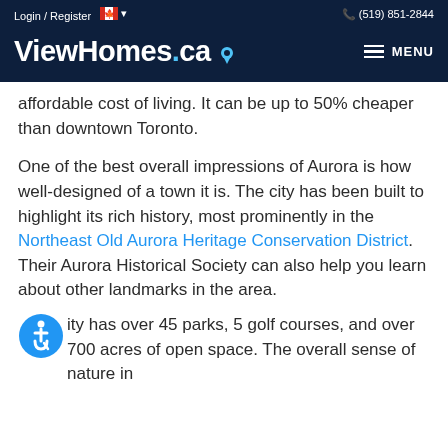Login / Register   🇨🇦 ▾   (519) 851-2844
ViewHomes.ca   ≡ MENU
affordable cost of living. It can be up to 50% cheaper than downtown Toronto.
One of the best overall impressions of Aurora is how well-designed of a town it is. The city has been built to highlight its rich history, most prominently in the Northeast Old Aurora Heritage Conservation District. Their Aurora Historical Society can also help you learn about other landmarks in the area.
[accessibility icon] ity has over 45 parks, 5 golf courses, and over 700 acres of open space. The overall sense of nature in